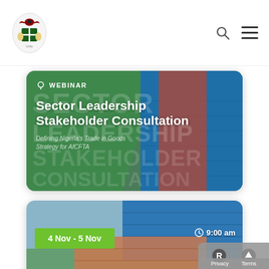Nigerian Government website header with logo, search icon, and menu icon
[Figure (screenshot): Event card 1: Webinar - Sector Leadership Stakeholder Consultation. Background shows stacked shipping containers (red and blue) with green overlay text. Text: WEBINAR (location pin icon), large bold title 'Sector Leadership Stakeholder Consultation', subtitle 'Defining Nigeria's Trade in Goods Strategy for AfCFTA']
[Figure (screenshot): Event card 2: Stacked shipping containers background with date badge '4 Nov - 5 Nov' in green on left and time '9:00 am' with clock icon on right]